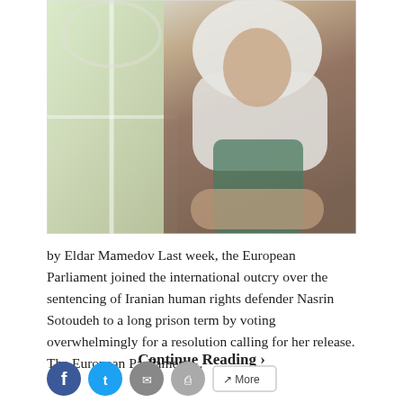[Figure (photo): Portrait photograph of Nasrin Sotoudeh, an Iranian woman wearing a white hijab and green vest, seated with arms crossed in front of a window with decorative ironwork and foliage visible in the background.]
by Eldar Mamedov Last week, the European Parliament joined the international outcry over the sentencing of Iranian human rights defender Nasrin Sotoudeh to a long prison term by voting overwhelmingly for a resolution calling for her release. The European Parliament…
Continue Reading ❯
[Figure (other): Social sharing bar with Facebook (blue circle), Twitter (cyan circle), email (grey circle), print (grey circle) icon buttons, and a 'More' button with a share icon.]